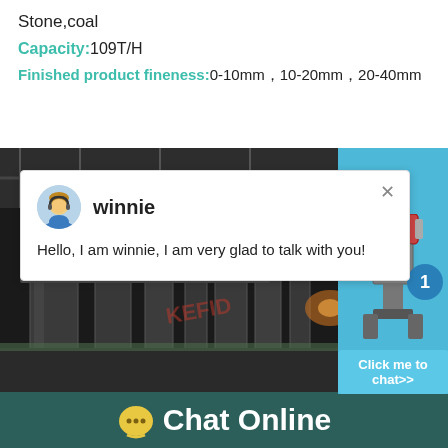Stone,coal
Capacity:109T/H
Finished product fineness:0-10mm，10-20mm，20-40mm
[Figure (screenshot): Industrial facility image showing crushers and processing equipment, with a chat popup overlay from agent 'winnie' saying 'Hello, I am winnie, I am very glad to talk with you!' and a right-side widget with machine image, badge number 1, and 'Click me to chat>>' button]
Chat Online